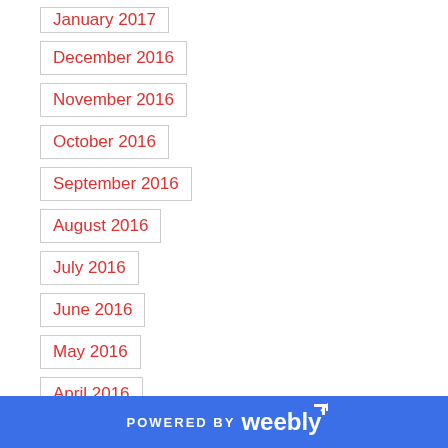January 2017
December 2016
November 2016
October 2016
September 2016
August 2016
July 2016
June 2016
May 2016
April 2016
March 2016
February 2016
January 2016
December 2015
POWERED BY weebly